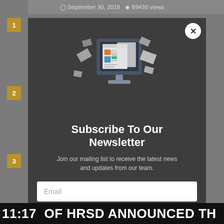September 30, 2019  69430 views
[Figure (screenshot): Newsletter subscription modal popup with email illustration showing a computer monitor surrounded by envelopes/letters, title 'Subscribe To Our Newsletter', description text, email input field, and subscribe button]
Subscribe To Our Newsletter
Join our mailing list to receive the latest news and updates from our team.
11:17 OF HRSD ANNOUNCED TH